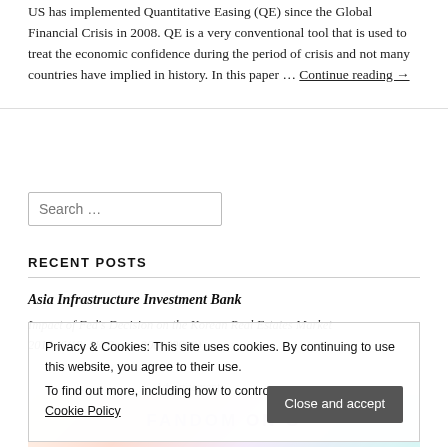US has implemented Quantitative Easing (QE) since the Global Financial Crisis in 2008. QE is a very conventional tool that is used to treat the economic confidence during the period of crisis and not many countries have implied in history. In this paper … Continue reading →
Search …
RECENT POSTS
Asia Infrastructure Investment Bank
Impact of Fed's Decision on the Korean Real Estates Market
2015 (6/18, 5K Bonus 300000000)
2015 (10/08, Homeback 00075320)
Privacy & Cookies: This site uses cookies. By continuing to use this website, you agree to their use. To find out more, including how to control cookies, see here: Cookie Policy
Close and accept